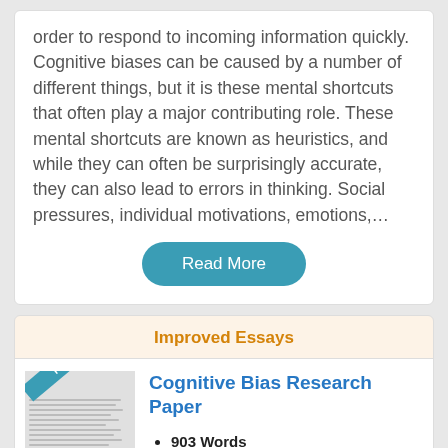order to respond to incoming information quickly. Cognitive biases can be caused by a number of different things, but it is these mental shortcuts that often play a major contributing role. These mental shortcuts are known as heuristics, and while they can often be surprisingly accurate, they can also lead to errors in thinking. Social pressures, individual motivations, emotions,…
Read More
Improved Essays
Cognitive Bias Research Paper
903 Words
4 Pages